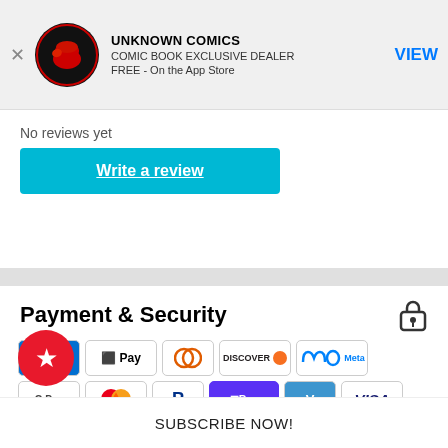[Figure (screenshot): App store banner for Unknown Comics showing app icon (red fist on black circle), name, subtitle, and VIEW button]
No reviews yet
Write a review
Payment & Security
[Figure (infographic): Payment method icons: AMEX, Apple Pay, Diners, Discover, Meta, Google Pay, Mastercard, PayPal, Shop Pay, Venmo, Visa]
Your payment information is processed securely. We do not store credit card details nor have access to your credit card
SUBSCRIBE NOW!